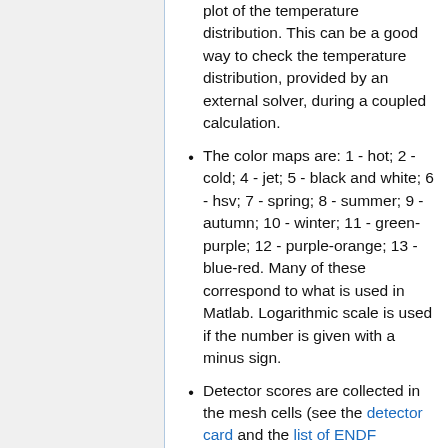plot of the temperature distribution. This can be a good way to check the temperature distribution, provided by an external solver, during a coupled calculation.
The color maps are: 1 - hot; 2 - cold; 4 - jet; 5 - black and white; 6 - hsv; 7 - spring; 8 - summer; 9 - autumn; 10 - winter; 11 - green-purple; 12 - purple-orange; 13 - blue-red. Many of these correspond to what is used in Matlab. Logarithmic scale is used if the number is given with a minus sign.
Detector scores are collected in the mesh cells (see the detector card and the list of ENDF reaction MT's and special reaction types for more information). The distribution is scaled according to the minimum and maximum values.